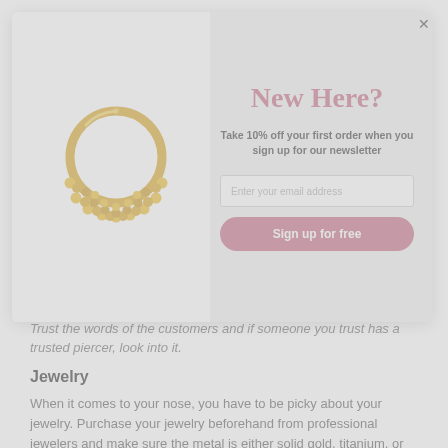[Figure (photo): Gold ornate nose ring/septum ring jewelry with beaded decorative half-moon design]
New Here?
Take 10% off your first order when you sign up for our newsletter
Enter your email address
Sign up for free
Trust the words of the customers and if someone you trust has a trusted piercer, look into it.
Jewelry
When it comes to your nose, you have to be picky about your jewelry. Purchase your jewelry beforehand from professional jewelers and make sure the metal is either solid gold, titanium, or niobium.
We know the excitement of getting your nose pierced can make you earnest, but don't forget that safety comes first.